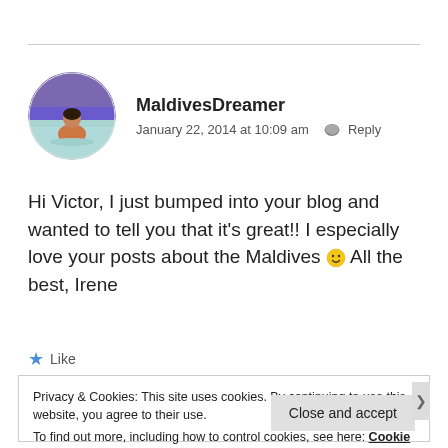[Figure (photo): Circular avatar photo of person sitting in water with purple/blue sky background]
MaldivesDreamer
January 22, 2014 at 10:09 am  Reply
Hi Victor, I just bumped into your blog and wanted to tell you that it's great!! I especially love your posts about the Maldives 🙂 All the best, Irene
★ Like
Privacy & Cookies: This site uses cookies. By continuing to use this website, you agree to their use.
To find out more, including how to control cookies, see here: Cookie Policy
Close and accept